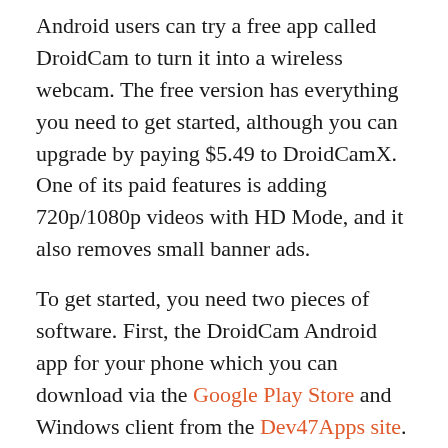Android users can try a free app called DroidCam to turn it into a wireless webcam. The free version has everything you need to get started, although you can upgrade by paying $5.49 to DroidCamX. One of its paid features is adding 720p/1080p videos with HD Mode, and it also removes small banner ads.
To get started, you need two pieces of software. First, the DroidCam Android app for your phone which you can download via the Google Play Store and Windows client from the Dev47Apps site.
Also Read: How to Fix Laptop is not Connecting to WiFi
Once both are installed on your device, make sure your computer and phone are on the same Wi-Fi network. Open the DroidCam Android app on your phone, then